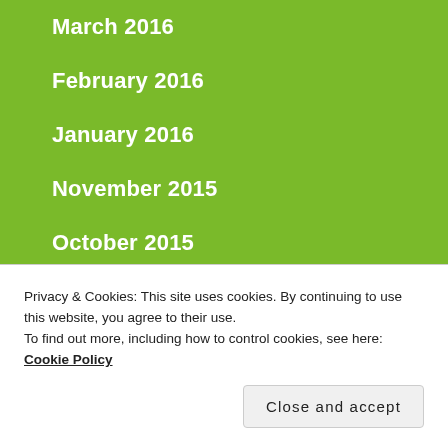March 2016
February 2016
January 2016
November 2015
October 2015
September 2015
Privacy & Cookies: This site uses cookies. By continuing to use this website, you agree to their use.
To find out more, including how to control cookies, see here: Cookie Policy
Close and accept